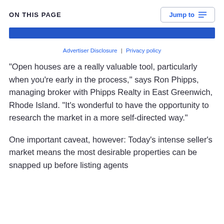ON THIS PAGE
Advertiser Disclosure | Privacy policy
“Open houses are a really valuable tool, particularly when you’re early in the process,” says Ron Phipps, managing broker with Phipps Realty in East Greenwich, Rhode Island. “It’s wonderful to have the opportunity to research the market in a more self-directed way.”
One important caveat, however: Today’s intense seller’s market means the most desirable properties can be snapped up before listing agents